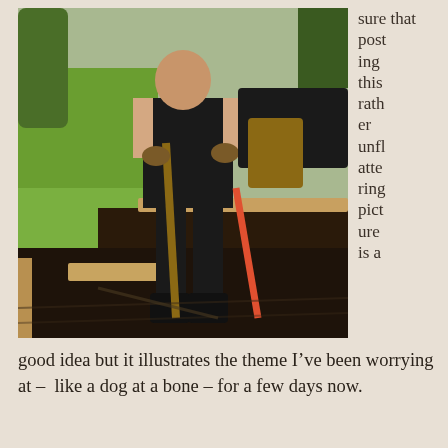[Figure (photo): A person wearing black overalls and boots, shirtless, digging in a raised garden bed with a shovel. Another red-handled shovel is visible. Green grass and trees are in the background.]
sure that posting this rather unflattering picture is a
good idea but it illustrates the theme I’ve been worrying at –  like a dog at a bone – for a few days now.